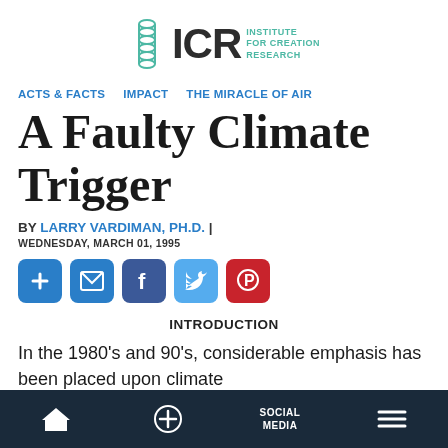[Figure (logo): ICR - Institute for Creation Research logo with DNA helix icon]
ACTS & FACTS   IMPACT   THE MIRACLE OF AIR
A Faulty Climate Trigger
BY LARRY VARDIMAN, PH.D.  |  WEDNESDAY, MARCH 01, 1995
[Figure (other): Social sharing buttons: plus, email, facebook, twitter, pinterest]
INTRODUCTION
In the 1980's and 90's, considerable emphasis has been placed upon climate
Home  +  SOCIAL MEDIA  Menu